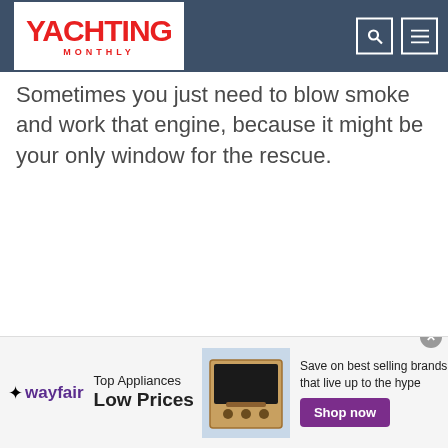YACHTING MONTHLY
Sometimes you just need to blow smoke and work that engine, because it might be your only window for the rescue.
[Figure (infographic): Wayfair advertisement banner: Top Appliances Low Prices. Save on best selling brands that live up to the hype. Shop now button.]